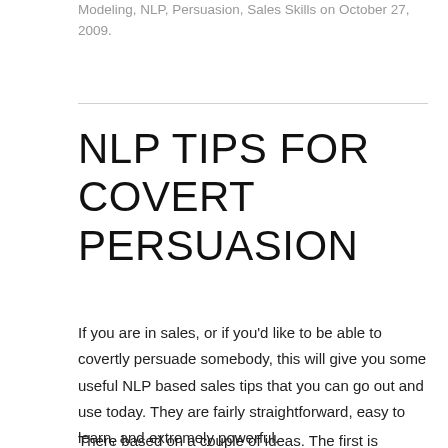Modeling, NLP, Persuasion, Sales Skills on October 27, 2009.
NLP TIPS FOR COVERT PERSUASION
If you are in sales, or if you’d like to be able to covertly persuade somebody, this will give you some useful NLP based sales tips that you can go out and use today. They are fairly straightforward, easy to learn, and extremely powerful.
There based on a couple of ideas. The first is